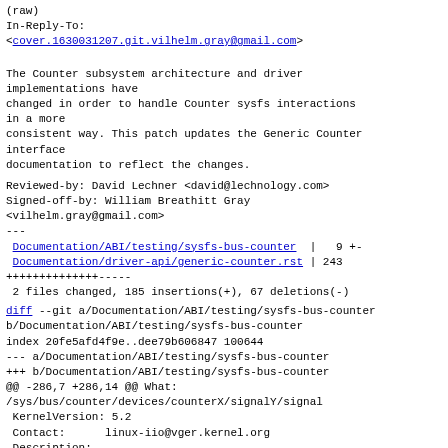(raw)
In-Reply-To:
<cover.1630031207.git.vilhelm.gray@gmail.com>
The Counter subsystem architecture and driver implementations have
changed in order to handle Counter sysfs interactions in a more
consistent way. This patch updates the Generic Counter interface
documentation to reflect the changes.
Reviewed-by: David Lechner <david@lechnology.com>
Signed-off-by: William Breathitt Gray
<vilhelm.gray@gmail.com>
---
 Documentation/ABI/testing/sysfs-bus-counter  |   9 +-
 Documentation/driver-api/generic-counter.rst | 243
++++++++++++++-----
 2 files changed, 185 insertions(+), 67 deletions(-)
diff --git a/Documentation/ABI/testing/sysfs-bus-counter b/Documentation/ABI/testing/sysfs-bus-counter
index 20fe5afd4f9e..dee79b606847 100644
--- a/Documentation/ABI/testing/sysfs-bus-counter
+++ b/Documentation/ABI/testing/sysfs-bus-counter
@@ -286,7 +286,14 @@ What:
 /sys/bus/counter/devices/counterX/signalY/signal
 KernelVersion: 5.2
 Contact:      linux-iio@vger.kernel.org
 Description: